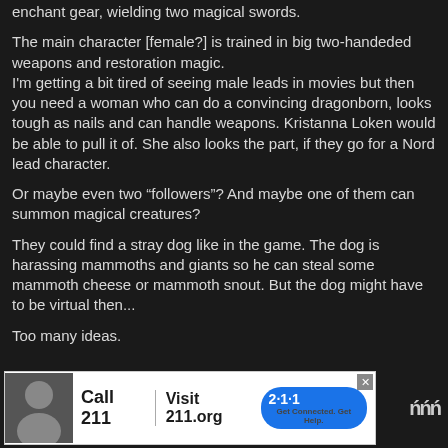enchant gear, wielding two magical swords.
The main character [female?] is trained in big two-handeded weapons and restoration magic.
I'm getting a bit tired of seeing male leads in movies but then you need a woman who can do a convincing dragonborn, looks tough as nails and can handle weapons. Kristanna Loken would be able to pull it of. She also looks the part, if they go for a Nord lead character.
Or maybe even two “followers”? And maybe one of them can summon magical creatures?
They could find a stray dog like in the game. The dog is harassing mammoths and giants so he can steal some mammoth cheese or mammoth snout. But the dog might have to be virtual then...
Too many ideas.
[Figure (infographic): Advertisement banner: Call 211 | Visit 211.org with 2-1-1 badge logo and a person's photo on the left]